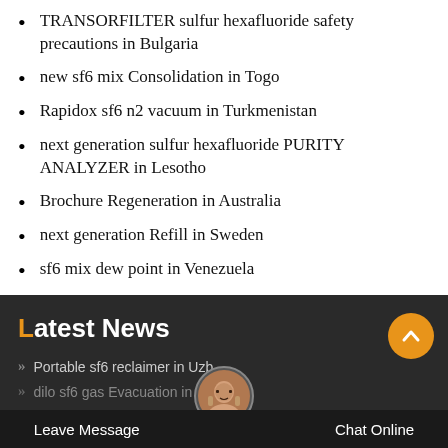TRANSORFILTER sulfur hexafluoride safety precautions in Bulgaria
new sf6 mix Consolidation in Togo
Rapidox sf6 n2 vacuum in Turkmenistan
next generation sulfur hexafluoride PURITY ANALYZER in Lesotho
Brochure Regeneration in Australia
next generation Refill in Sweden
sf6 mix dew point in Venezuela
Latest News
Portable sf6 reclaimer in Uzb
dilo sf6 gas Evacuation in Lesotho
Leave Message   Chat Online